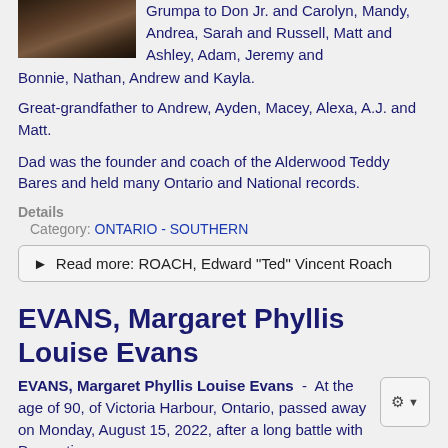[Figure (photo): Portrait photo partially visible at top left]
Grumpa to Don Jr. and Carolyn, Mandy, Andrea, Sarah and Russell, Matt and Ashley, Adam, Jeremy and Bonnie, Nathan, Andrew and Kayla.
Great-grandfather to Andrew, Ayden, Macey, Alexa, A.J. and Matt.
Dad was the founder and coach of the Alderwood Teddy Bares and held many Ontario and National records.
Details
Category: ONTARIO - SOUTHERN
Read more: ROACH, Edward "Ted" Vincent Roach
EVANS, Margaret Phyllis Louise Evans
EVANS, Margaret Phyllis Louise Evans - At the age of 90, of Victoria Harbour, Ontario, passed away on Monday, August 15, 2022, after a long battle with Dementia.
Details
Category: ONTARIO - SOUTHERN
Read more: EVANS, Margaret Phyllis Louise Evans